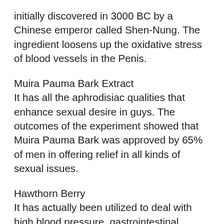initially discovered in 3000 BC by a Chinese emperor called Shen-Nung. The ingredient loosens up the oxidative stress of blood vessels in the Penis.
Muira Pauma Bark Extract
It has all the aphrodisiac qualities that enhance sexual desire in guys. The outcomes of the experiment showed that Muira Pauma Bark was approved by 65% of men in offering relief in all kinds of sexual issues.
Hawthorn Berry
It has actually been utilized to deal with high blood pressure, gastrointestinal problems, and heart illness for centuries. Hawthorn Berry consists of a lot of anti-oxidants like